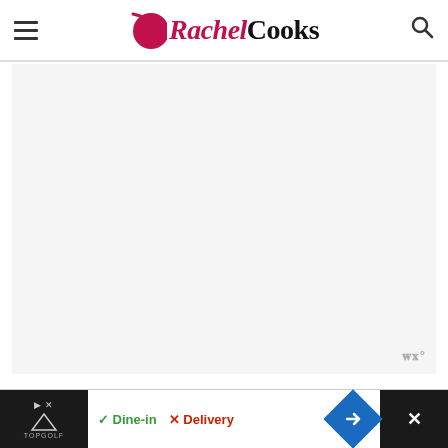Rachel Cooks
[Figure (photo): Large image area placeholder (light gray), with a small Wm° watermark badge at bottom right]
Prep the lettuce, carrots, and parsley (or whatever you choose to use) and refrigerate in a covered container or on a plate covered with plastic wrap.
[Figure (other): Bottom advertisement bar with TopGolf ad, Dine-in and Delivery options, navigation arrow, and close button]